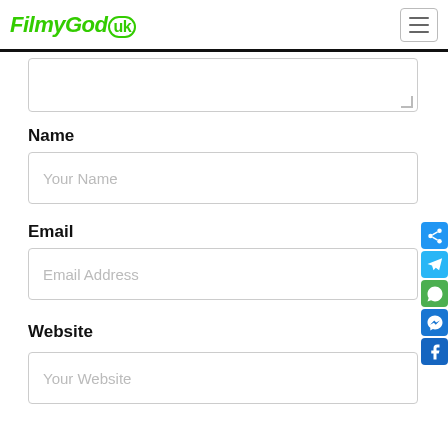FilmyGod.uk
Name
Your Name
Email
Email Address
Website
Your Website